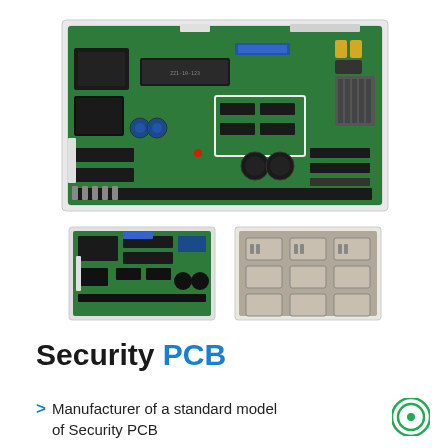[Figure (photo): Large green security PCB (printed circuit board) with ICs, capacitors, connectors and various components mounted on it, shown from above.]
[Figure (photo): Smaller green PCB thumbnail image on the left.]
[Figure (photo): Grid/array of ceramic or metal PCB modules thumbnail image on the right.]
Security PCB
Manufacturer of a standard model of Security PCB